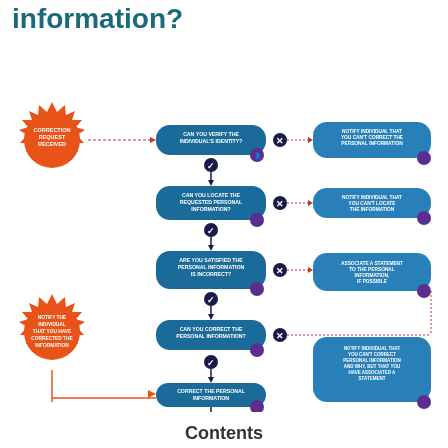information?
[Figure (flowchart): Flowchart showing steps for handling a correction request for personal information. Starts with 'Correction Request Received' sunburst, then asks: 1) Can you verify the individual's identity? (No -> Notify individual that you can't correct the personal information), (Yes -> 2) Can you locate the requested personal information? (No -> Notify individual that you can't locate the information), (Yes -> 3) Are you satisfied the personal information is incorrect? (No -> Associate a statement to the personal information, if possible), (Yes -> 4) Can you correct the personal information? (No -> goes to associate statement path -> Notify individual that you can't correct personal information and why, but that you have associated a statement), (Yes -> Correct the personal information -> Notify the individual that you have corrected the information sunburst -> Notify any third parties if necessary)]
Contents